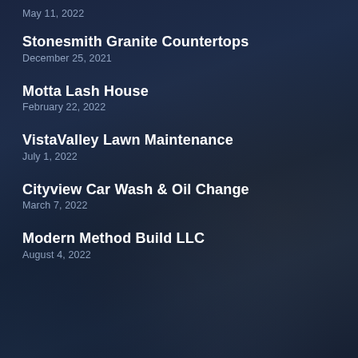May 11, 2022
Stonesmith Granite Countertops
December 25, 2021
Motta Lash House
February 22, 2022
VistaValley Lawn Maintenance
July 1, 2022
Cityview Car Wash & Oil Change
March 7, 2022
Modern Method Build LLC
August 4, 2022